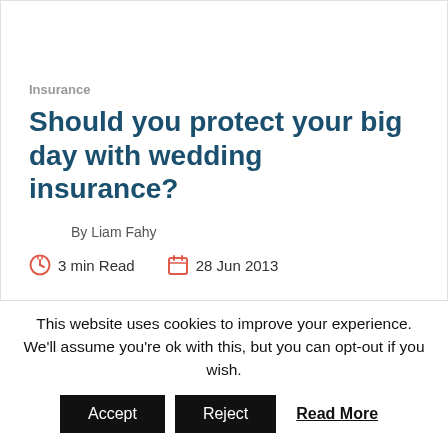Insurance
Should you protect your big day with wedding insurance?
By Liam Fahy
3 min Read   28 Jun 2013
This website uses cookies to improve your experience. We'll assume you're ok with this, but you can opt-out if you wish.